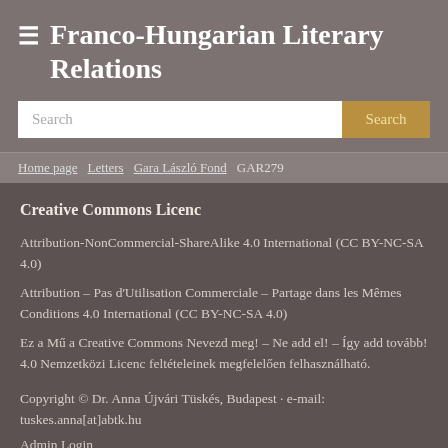Franco-Hungarian Literary Relations
Search
Home page | Letters | Gara László Fond | GAR279
Creative Commons Licenc
Attribution-NonCommercial-ShareAlike 4.0 International (CC BY-NC-SA 4.0)
Attribution – Pas d'Utilisation Commerciale – Partage dans les Mêmes Conditions 4.0 International (CC BY-NC-SA 4.0)
Ez a Mű a Creative Commons Nevezd meg! – Ne add el! – Így add tovább! 4.0 Nemzetközi Licenc feltételeinek megfelelően felhasználható.
Copyright © Dr. Anna Újvári Tüskés, Budapest · e-mail: tuskes.anna[at]abtk.hu
Admin Login